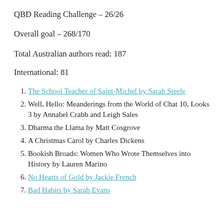QBD Reading Challenge – 26/26
Overall goal – 268/170
Total Australian authors read: 187
International: 81
The School Teacher of Saint-Michel by Sarah Steele
Well, Hello: Meanderings from the World of Chat 10, Looks 3 by Annabel Crabb and Leigh Sales
Dharma the Llama by Matt Cosgrove
A Christmas Carol by Charles Dickens
Bookish Broads: Women Who Wrote Themselves into History by Lauren Marino
No Hearts of Gold by Jackie French
Bad Habits by Sarah Evans